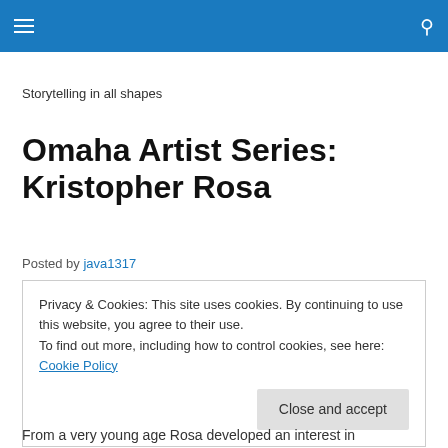≡  🔍
Storytelling in all shapes
Omaha Artist Series: Kristopher Rosa
Posted by java1317
Privacy & Cookies: This site uses cookies. By continuing to use this website, you agree to their use. To find out more, including how to control cookies, see here: Cookie Policy Close and accept
From a very young age Rosa developed an interest in